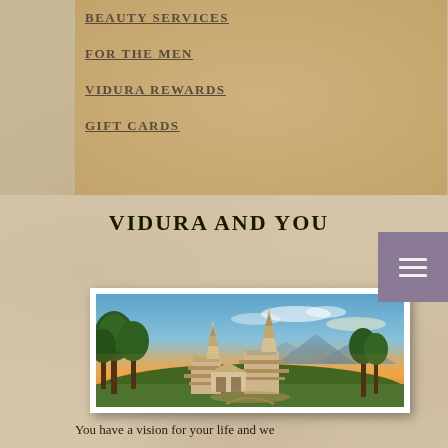BEAUTY SERVICES
FOR THE MEN
VIDURA REWARDS
GIFT CARDS
VIDURA AND YOU
[Figure (photo): Panoramic photo of Thai Buddhist pagodas/temples on a hilltop at sunset with orange sky and mountains in background, surrounded by trees and garden paths]
You have a vision for your life and we